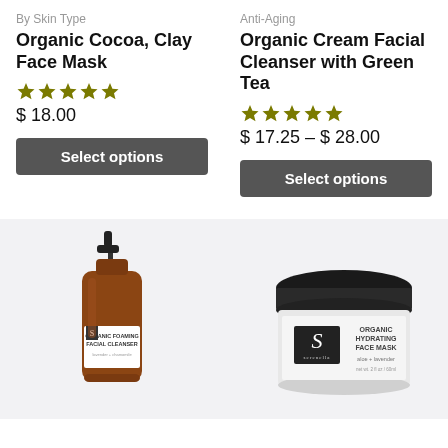By Skin Type
Organic Cocoa, Clay Face Mask
★★★★★
$ 18.00
Select options
Anti-Aging
Organic Cream Facial Cleanser with Green Tea
★★★★★
$ 17.25 – $ 28.00
Select options
[Figure (photo): Amber glass foaming facial cleanser bottle with black pump top and white label reading ORGANIC FOAMING FACIAL CLEANSER]
[Figure (photo): Glass jar with black lid containing organic hydrating face mask, label reads ORGANIC HYDRATING FACE MASK aloe + lavender, brand logo S Serenella]